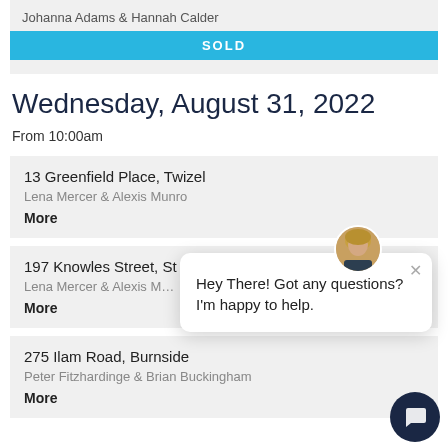Johanna Adams & Hannah Calder
SOLD
Wednesday, August 31, 2022
From 10:00am
13 Greenfield Place, Twizel
Lena Mercer & Alexis Munro
More
197 Knowles Street, St A...
Lena Mercer & Alexis M...
More
275 Ilam Road, Burnside
Peter Fitzhardinge & Brian Buckingham
More
[Figure (screenshot): Chat popup widget with avatar photo of blonde woman, message 'Hey There! Got any questions? I'm happy to help.' and a close X button. Dark navy circular chat button in bottom right.]